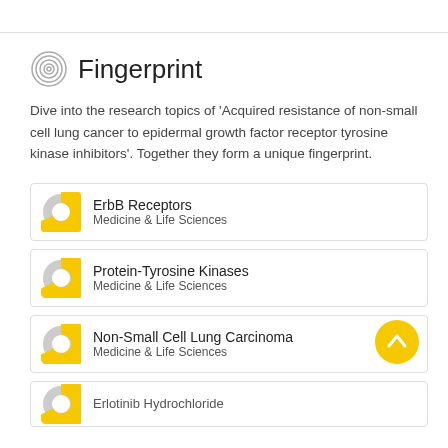Fingerprint
Dive into the research topics of 'Acquired resistance of non-small cell lung cancer to epidermal growth factor receptor tyrosine kinase inhibitors'. Together they form a unique fingerprint.
ErbB Receptors — Medicine & Life Sciences
Protein-Tyrosine Kinases — Medicine & Life Sciences
Non-Small Cell Lung Carcinoma — Medicine & Life Sciences
Erlotinib Hydrochloride (partial, cut off)